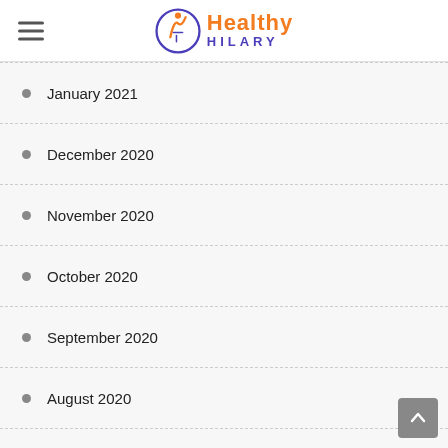Healthy Hilary
January 2021
December 2020
November 2020
October 2020
September 2020
August 2020
July 2020
June 2020
May 2020
April 2020